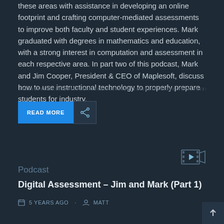these areas with assistance in developing an online footprint and crafting computer-mediated assessments to improve both faculty and student experiences. Mark graduated with degrees in mathematics and education, with a strong interest in computation and assessment in each respective area. In part two of this podcast, Mark and Jim Cooper, President & CEO of Maplesoft, discuss how to use instructional technology to properly prepare students for industry.
[Figure (other): READ MORE button and share icon button]
[Figure (other): Video/media icon in top right of lower card]
Podcast
Digital Assessment – Jim and Mark (Part 1)
5 YEARS AGO . MATT